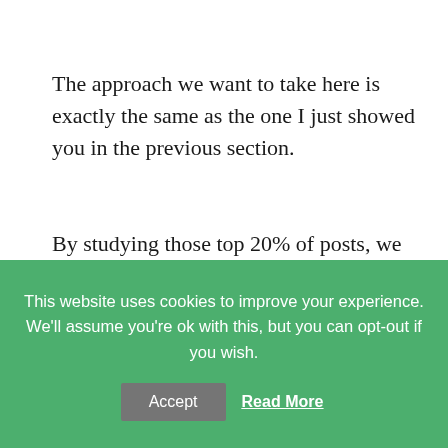The approach we want to take here is exactly the same as the one I just showed you in the previous section.
By studying those top 20% of posts, we can discover what it is about them that produces more traffic than all the others.
Applying the 80/20 rule: This is a very easy area to apply the rule to because you likely have all the data prepared for you already in Google...
This website uses cookies to improve your experience. We'll assume you're ok with this, but you can opt-out if you wish. Accept Read More